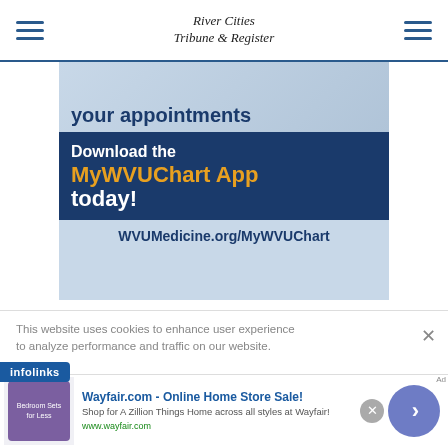River Cities Tribune & Register
[Figure (infographic): WVUMedicine advertisement showing text 'your appointments', 'Download the MyWVUChart App today!' with dark navy background and gold text, and URL WVUMedicine.org/MyWVUChart]
This website uses cookies to enhance user experience to analyze performance and traffic on our website.
[Figure (infographic): Infolinks advertisement bar]
[Figure (infographic): Wayfair.com advertisement - Online Home Store Sale! Shop for A Zillion Things Home across all styles at Wayfair! www.wayfair.com]